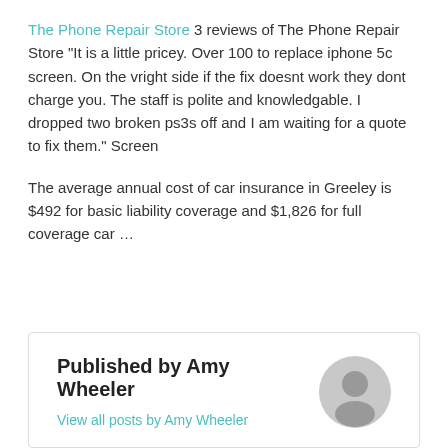The Phone Repair Store 3 reviews of The Phone Repair Store "It is a little pricey. Over 100 to replace iphone 5c screen. On the vright side if the fix doesnt work they dont charge you. The staff is polite and knowledgable. I dropped two broken ps3s off and I am waiting for a quote to fix them." Screen
The average annual cost of car insurance in Greeley is $492 for basic liability coverage and $1,826 for full coverage car ...
Published by Amy Wheeler
View all posts by Amy Wheeler